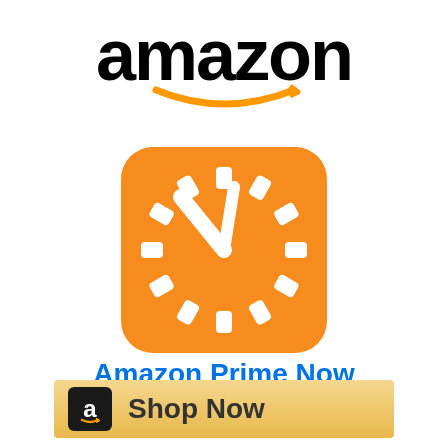[Figure (logo): Amazon wordmark logo in black with orange arrow/smile underneath]
[Figure (logo): Amazon Prime Now app icon: orange rounded square with white clock showing hour and minute hands as white bars, surrounded by white rectangular tick marks]
Amazon Prime Now
[Figure (infographic): Shop Now button bar with gold/yellow gradient background, black Amazon 'a' icon on left, and 'Shop Now' text in dark color]